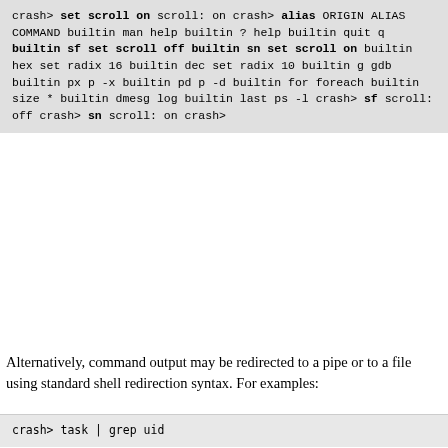crash> set scroll on
scroll: on
crash> alias

ORIGIN   ALIAS     COMMAND
builtin  man       help
builtin  ?         help
builtin  quit      q
builtin  sf        set scroll off
builtin  sn        set scroll on
builtin  hex       set radix 16
builtin  dec       set radix 10
builtin  g         gdb
builtin  px        p -x
builtin  pd        p -d
builtin  for       foreach
builtin  size      *
builtin  dmesg     log
builtin  last      ps -l
crash> sf
scroll: off
crash> sn
scroll: on
crash>
Alternatively, command output may be redirected to a pipe or to a file using standard shell redirection syntax. For examples:
crash> task | grep uid